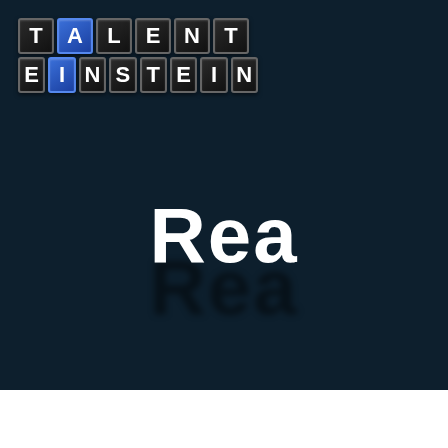[Figure (logo): Talent Einstein logo made of letter tiles in a grid. Top row spells TALENT, bottom row spells EINSTEIN. The A and I tiles are blue, all others are black/dark. Tile styling resembles scoreboard/airport departure board letters.]
Rea
Job Ads